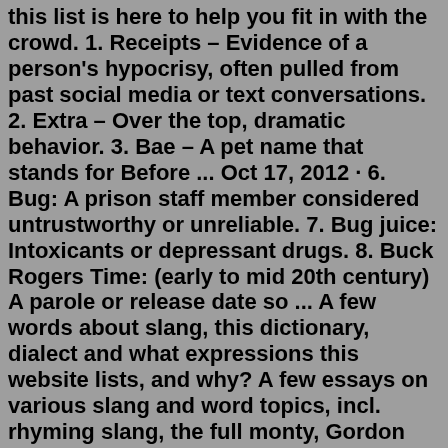this list is here to help you fit in with the crowd. 1. Receipts – Evidence of a person's hypocrisy, often pulled from past social media or text conversations. 2. Extra – Over the top, dramatic behavior. 3. Bae – A pet name that stands for Before ... Oct 17, 2012 · 6. Bug: A prison staff member considered untrustworthy or unreliable. 7. Bug juice: Intoxicants or depressant drugs. 8. Buck Rogers Time: (early to mid 20th century) A parole or release date so ... A few words about slang, this dictionary, dialect and what expressions this website lists, and why? A few essays on various slang and word topics, incl. rhyming slang, the full monty, Gordon Bennett...Jul 03, 2020 · This is another one of the overused slang words in English like ' awesome '. People say it without really paying attention to the gravity of the word. Epic is heroic, larger than life, grand, an extravaganza, impressive. Use the word epic to describe events or circumstances of that nature. Not your night out on the town. All you need to know are a few Mexican slang words and you'll be ready to mingle with the locals. In this post,